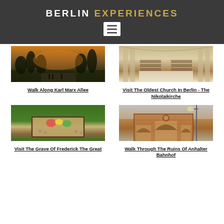BERLIN EXPERIENCES
[Figure (photo): Outdoor scene along Karl Marx Allee at dusk with trees and a wide boulevard]
[Figure (photo): Interior of the Nikolaikirche church with rows of chairs and arched columns]
Walk Along Karl Marx Allee
Visit The Oldest Church In Berlin - The Nikolaikirche
[Figure (photo): Grave of Frederick the Great with flowers and stones on a green lawn]
[Figure (photo): Exterior ruins of Anhalter Bahnhof brick facade with arched windows and a street lamp]
Visit The Grave Of Frederick The Great
Walk Through The Ruins Of Anhalter Bahnhof